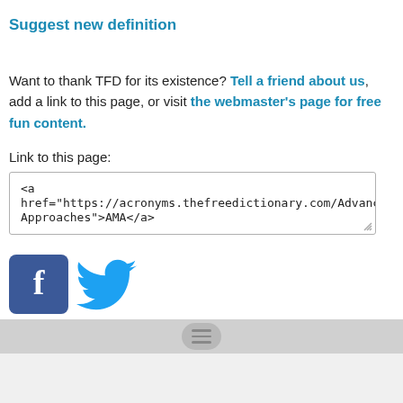Suggest new definition
Want to thank TFD for its existence? Tell a friend about us, add a link to this page, or visit the webmaster's page for free fun content.
Link to this page:
<a href="https://acronyms.thefreedictionary.com/Advanced+Measurement+Approaches">AMA</a>
[Figure (logo): Facebook and Twitter social media icons]